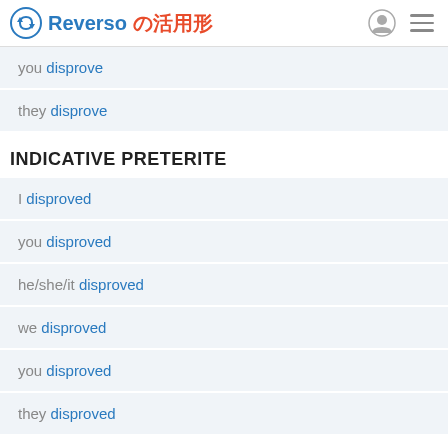Reverso の活用形
you disprove
they disprove
INDICATIVE PRETERITE
I disproved
you disproved
he/she/it disproved
we disproved
you disproved
they disproved
INDICATIVE PRESENT CONTINUOUS